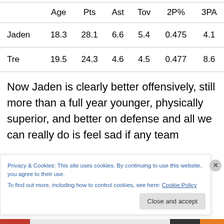|  | Age | Pts | Ast | Tov | 2P% | 3PA |
| --- | --- | --- | --- | --- | --- | --- |
| Jaden | 18.3 | 28.1 | 6.6 | 5.4 | 0.475 | 4.1 |
| Tre | 19.5 | 24.3 | 4.6 | 4.5 | 0.477 | 8.6 |
Now Jaden is clearly better offensively, still more than a full year younger, physically superior, and better on defense and all we can really do is feel sad if any team
Privacy & Cookies: This site uses cookies. By continuing to use this website, you agree to their use.
To find out more, including how to control cookies, see here: Cookie Policy